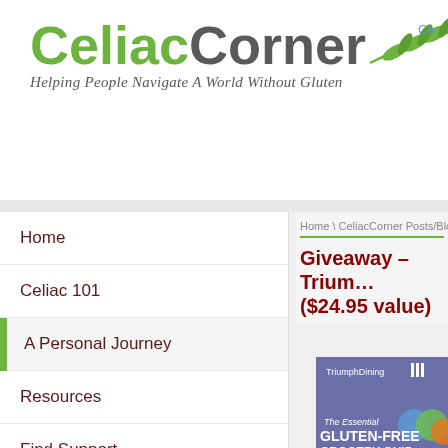[Figure (logo): Celiac Corner logo with wheat graphic and tagline 'Helping People Navigate A World Without Gluten']
Ce
Home
Celiac 101
A Personal Journey
Resources
Find Support
CeliacCorner Blogs
On the Horizon
Celiacs Helping Celiacs
Celiac News: Recent Medical R...
Home \ CeliacCorner Posts/Blogs \ Ce
Giveaway – Trium… ($24.95 value)
[Figure (photo): Book cover: The Essential Gluten-Free Grocery Guide by Triumph Dining]